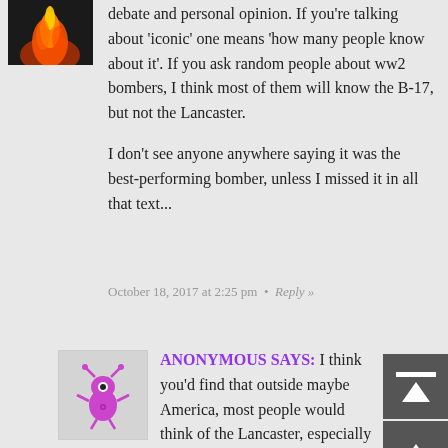[Figure (photo): Avatar image showing a fiery explosion or volcanic scene with dark background]
debate and personal opinion. If you're talking about 'iconic' one means 'how many people know about it'. If you ask random people about ww2 bombers, I think most of them will know the B-17, but not the Lancaster.

I don't see anyone anywhere saying it was the best-performing bomber, unless I missed it in all that text...
October 18, 2017 at 2:25 pm  •  Reply »
[Figure (illustration): Cartoon alien/bug avatar in purple/magenta color with antenna and thin legs]
ANONYMOUS SAYS: I think you'd find that outside maybe America, most people would think of the Lancaster, especially the UK and potentially even in places such as Australia.